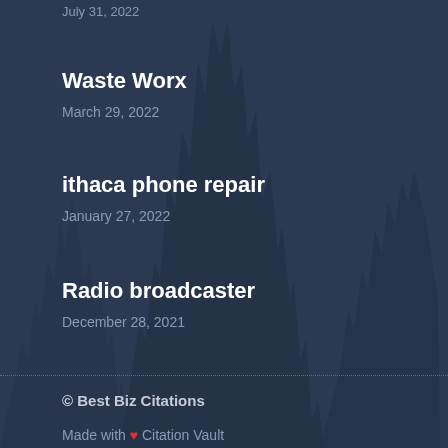July 31, 2022 (partial, cropped at top)
Waste Worx
March 29, 2022
ithaca phone repair
January 27, 2022
Radio broadcaster
December 28, 2021
© Best Biz Citations
Made with ❤ Citation Vault